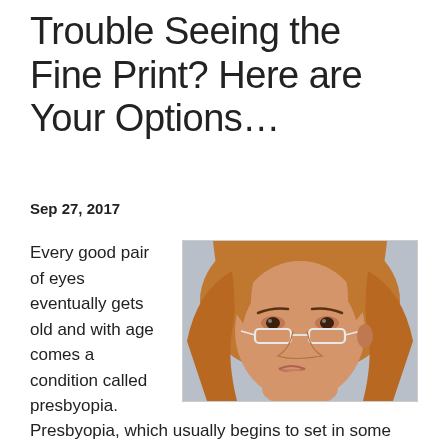Trouble Seeing the Fine Print? Here are Your Options…
Sep 27, 2017
Every good pair of eyes eventually gets old and with age comes a condition called presbyopia.
[Figure (photo): A woman wearing small narrow reading glasses pushed down on her nose, with reddish-brown hair, looking toward the camera.]
Presbyopia, which usually begins to set in some time around 40, occurs when the lens of the eye begins to